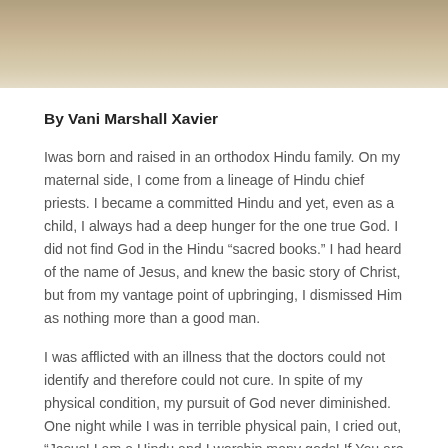[Figure (photo): Cropped photo of a person, showing lower face and torso area with warm beige/tan tones]
By Vani Marshall Xavier
Iwas born and raised in an orthodox Hindu family. On my maternal side, I come from a lineage of Hindu chief priests. I became a committed Hindu and yet, even as a child, I always had a deep hunger for the one true God. I did not find God in the Hindu “sacred books.” I had heard of the name of Jesus, and knew the basic story of Christ, but from my vantage point of upbringing, I dismissed Him as nothing more than a good man.
I was afflicted with an illness that the doctors could not identify and therefore could not cure. In spite of my physical condition, my pursuit of God never diminished. One night while I was in terrible physical pain, I cried out, “Jesus! I am a Hindu and I worship many gods! If You are the one true God, then heal my body! Take this pain away and give me peace!”
Suddenly a very real and powerful presence entered my room. I knew without a doubt it was the manifest presence of almighty